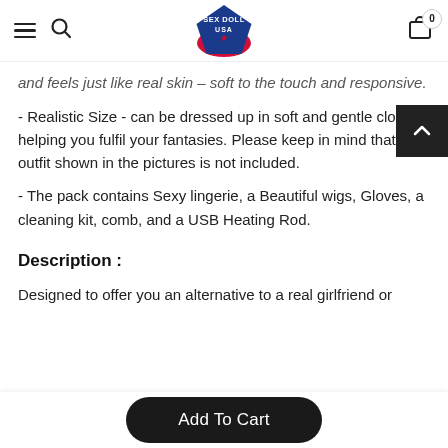SEX DOLL USA — navigation header with hamburger menu, search, logo, and cart (0 items)
and feels just like real skin – soft to the touch and responsive.
- Realistic Size - can be dressed up in soft and gentle clothes, helping you fulfil your fantasies. Please keep in mind that the outfit shown in the pictures is not included.
- The pack contains Sexy lingerie, a Beautiful wigs, Gloves, a cleaning kit, comb, and a USB Heating Rod.
Description :
Designed to offer you an alternative to a real girlfriend or